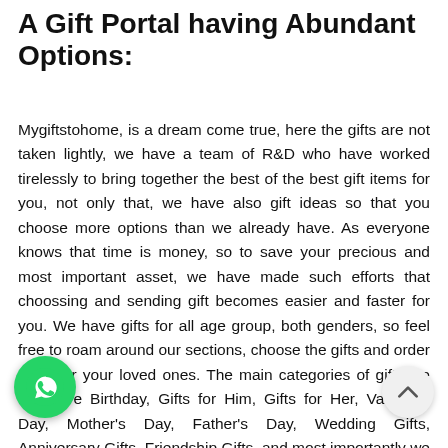A Gift Portal having Abundant Options:
Mygiftstohome, is a dream come true, here the gifts are not taken lightly, we have a team of R&D who have worked tirelessly to bring together the best of the best gift items for you, not only that, we have also gift ideas so that you choose more options than we already have. As everyone knows that time is money, so to save your precious and most important asset, we have made such efforts that choosing and sending gift becomes easier and faster for you. We have gifts for all age group, both genders, so feel free to roam around our sections, choose the gifts and order them for your loved ones. The main categories of gifts we have are Birthday, Gifts for Him, Gifts for Her, Valentine Day, Mother's Day, Father's Day, Wedding Gifts, Anniversary Gifts, Friendship Gifts, and most importantly we have an option of Personalized Gifts and we have taken in consideration our various events like Eids. So it can be summarized as Mygiftstohome HAS EVERYTHING FOR EVERYONE